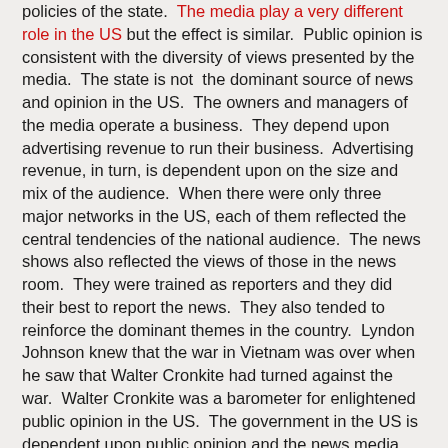policies of the state.  The media play a very different role in the US but the effect is similar.  Public opinion is consistent with the diversity of views presented by the media.  The state is not  the dominant source of news and opinion in the US.  The owners and managers of the media operate a business.  They depend upon advertising revenue to run their business.  Advertising revenue, in turn, is dependent upon on the size and mix of the audience.  When there were only three major networks in the US, each of them reflected the central tendencies of the national audience.  The news shows also reflected the views of those in the news room.  They were trained as reporters and they did their best to report the news.  They also tended to reinforce the dominant themes in the country.  Lyndon Johnson knew that the war in Vietnam was over when he saw that Walter Cronkite had turned against the war.  Walter Cronkite was a barometer for enlightened public opinion in the US.  The government in the US is dependent upon public opinion and the news media reflect and help to determine public opinion.
Things changed with the advent of cable news in the US.  The news anchors are no longer reporters.  They are